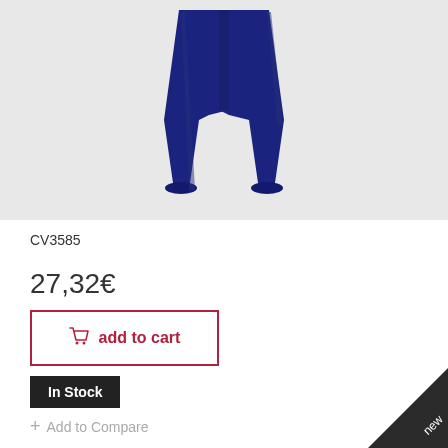[Figure (photo): Navy blue jogging/sweatpants shown from waist down on a light grey background]
CV3585
27,32€
add to cart
In Stock
+ Add to Compare
new